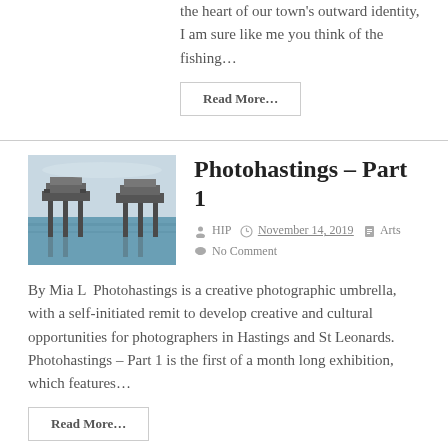the heart of our town's outward identity, I am sure like me you think of the fishing…
Read More…
Photohastings – Part 1
HIP  November 14, 2019  Arts  No Comment
[Figure (photo): Photo of sea forts or offshore structures on stilts over water, with greenish-blue sea in background.]
By Mia L  Photohastings is a creative photographic umbrella, with a self-initiated remit to develop creative and cultural opportunities for photographers in Hastings and St Leonards. Photohastings – Part 1 is the first of a month long exhibition, which features…
Read More…